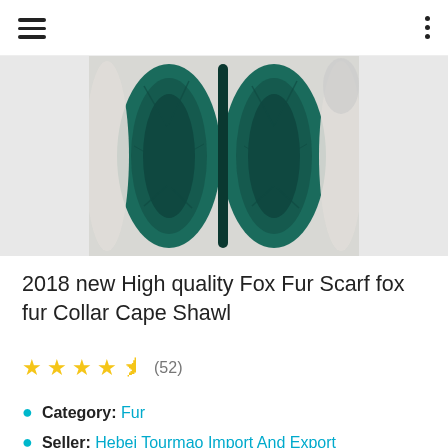Navigation bar with hamburger menu and dots menu
[Figure (photo): Photo of a teal/dark green fox fur scarf or collar cape shawl displayed flat on a white fluffy surface, showing two side-by-side fur panels with dense fur texture.]
2018 new High quality Fox Fur Scarf fox fur Collar Cape Shawl
★★★★½ (52)
Category: Fur
Seller: Hebei Tourmao Import And Export